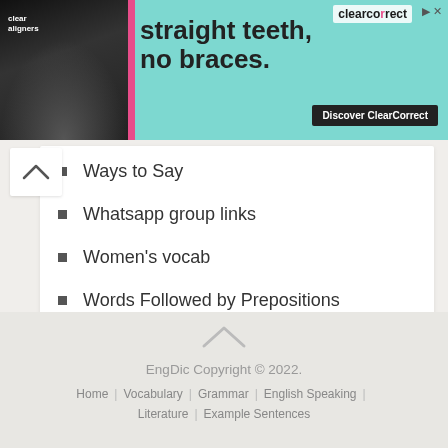[Figure (photo): Advertisement banner for ClearCorrect clear aligners with headline 'straight teeth, no braces.' and a button 'Discover ClearCorrect']
Ways to Say
Whatsapp group links
Women's vocab
Words Followed by Prepositions
Words List
EngDic Copyright © 2022.
Home | Vocabulary | Grammar | English Speaking | Literature | Example Sentences